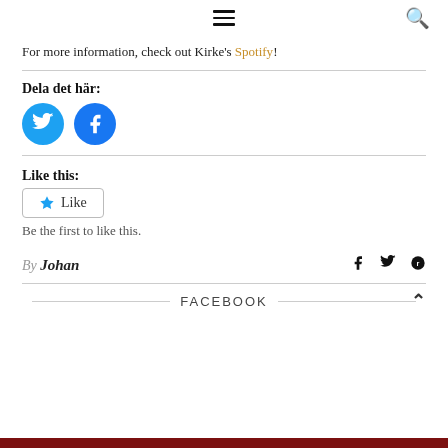For more information, check out Kirke's Spotify!
Dela det här:
[Figure (illustration): Twitter and Facebook circular share buttons]
Like this:
[Figure (illustration): Like button with star icon]
Be the first to like this.
By Johan
FACEBOOK